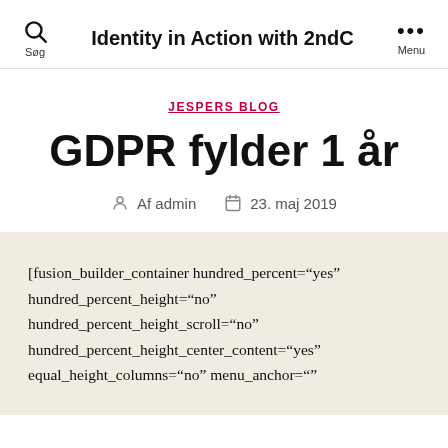Identity in Action with 2ndC
JESPERS BLOG
GDPR fylder 1 år
Af admin   23. maj 2019
[fusion_builder_container hundred_percent="yes" hundred_percent_height="no" hundred_percent_height_scroll="no" hundred_percent_height_center_content="yes" equal_height_columns="no" menu_anchor=""